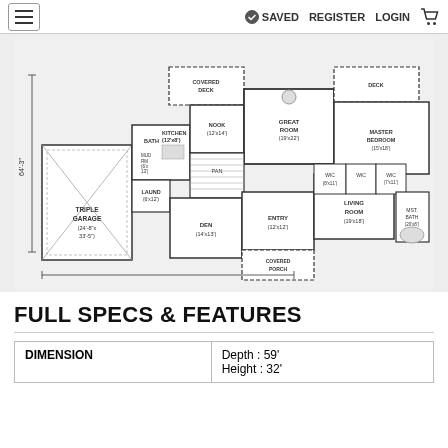≡  ✓ SAVED  REGISTER  LOGIN  🛒
[Figure (engineering-diagram): Floor plan of a house showing: Triple Garage (24'-8" x 33'-5"), Covered Deck, Deck, Great Room (19'x22'), Master Bedroom (15'x18'), Kitchen (12'x8'), Nook (12'x14'), Pan, Den (14'x13'), Entry (12'x12'), Living Room (19'x18'), Laund, Bath, Mst. Bath (20'x8'), WIC, WIC (8'x11'), WIC (7'x11'). Overall depth 64'-3".]
FULL SPECS & FEATURES
| DIMENSION |  |
| --- | --- |
| DIMENSION | Depth : 59'
Height : 32' |